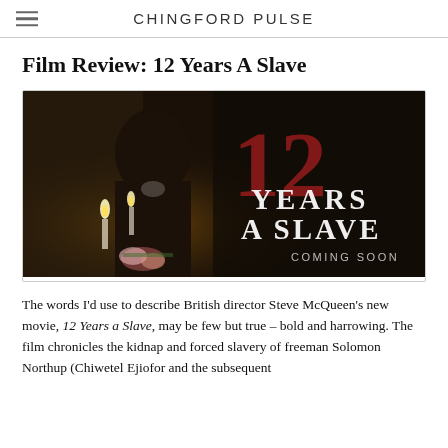CHINGFORD PULSE
Film Review: 12 Years A Slave
[Figure (photo): Movie poster/promotional image for '12 Years a Slave' showing a man in period clothing by candlelight with the text '12 YEARS A SLAVE' and 'COMING SOON']
The words I'd use to describe British director Steve McQueen's new movie, 12 Years a Slave, may be few but true – bold and harrowing. The film chronicles the kidnap and forced slavery of freeman Solomon Northup (Chiwetel Ejiofor and the subsequent